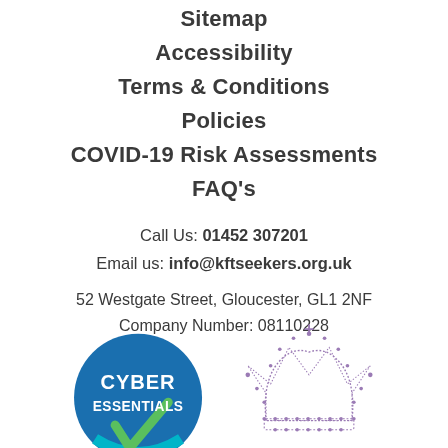Sitemap
Accessibility
Terms & Conditions
Policies
COVID-19 Risk Assessments
FAQ's
Call Us: 01452 307201
Email us: info@kftseekers.org.uk
52 Westgate Street, Gloucester, GL1 2NF
Company Number: 08110228
[Figure (logo): Cyber Essentials badge and Queen's Award crown logo]